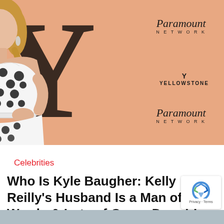[Figure (photo): Woman with blonde hair wearing a white strapless dress with black polka dots, posing at a Paramount Network / Yellowstone event in front of an orange backdrop with large Y logo and Paramount Network branding]
Celebrities
Who Is Kyle Baugher: Kelly Reilly's Husband Is a Man of Few Words & Lots of Green Dough!